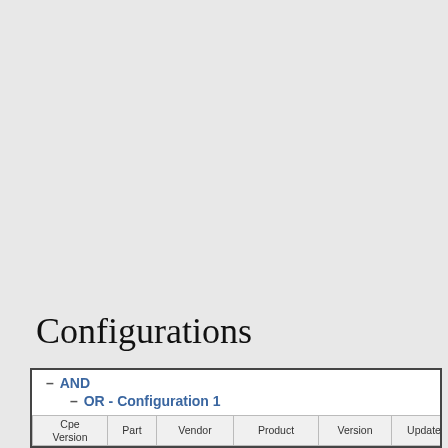Configurations
| Cpe Version | Part | Vendor | Product | Version | Update |
| --- | --- | --- | --- | --- | --- |